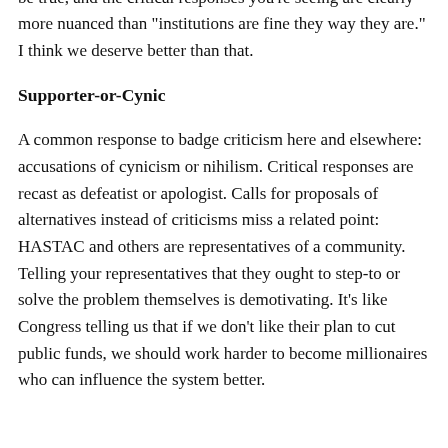supporting ABDCF letter grading. I don't see why that would be true, and the critical responses you're seeing are clearly more nuanced than "institutions are fine they way they are." I think we deserve better than that.
Supporter-or-Cynic
A common response to badge criticism here and elsewhere: accusations of cynicism or nihilism. Critical responses are recast as defeatist or apologist. Calls for proposals of alternatives instead of criticisms miss a related point: HASTAC and others are representatives of a community. Telling your representatives that they ought to step-to or solve the problem themselves is demotivating. It's like Congress telling us that if we don't like their plan to cut public funds, we should work harder to become millionaires who can influence the system better.